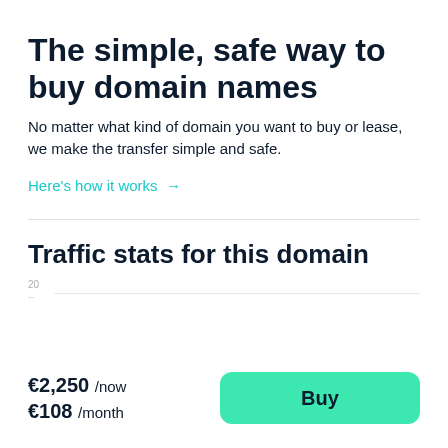The simple, safe way to buy domain names
No matter what kind of domain you want to buy or lease, we make the transfer simple and safe.
Here's how it works →
Traffic stats for this domain
[Figure (other): Traffic stats chart area with y-axis label showing '20' and a horizontal gridline]
€2,250 /now
€108 /month
Buy